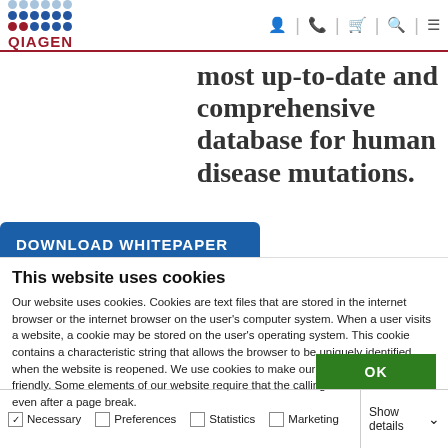QIAGEN
most up-to-date and comprehensive database for human disease mutations.
DOWNLOAD WHITEPAPER
This website uses cookies
Our website uses cookies. Cookies are text files that are stored in the internet browser or the internet browser on the user’s computer system. When a user visits a website, a cookie may be stored on the user’s operating system. This cookie contains a characteristic string that allows the browser to be uniquely identified when the website is reopened. We use cookies to make our website more user-friendly. Some elements of our website require that the calling browser be identified even after a page break.
OK
Necessary  Preferences  Statistics  Marketing  Show details